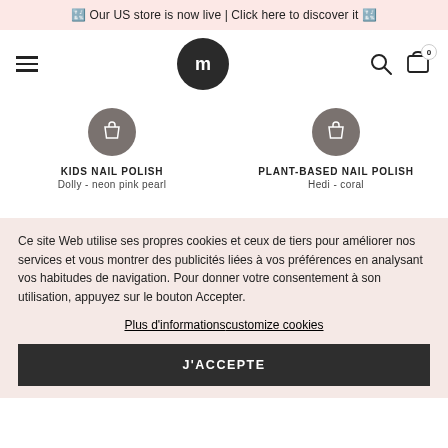🔣 Our US store is now live | Click here to discover it 🔣
[Figure (screenshot): Website navigation bar with hamburger menu, circular logo with 'm' letter, search icon, and cart icon with 0 badge]
[Figure (screenshot): Two product cards: KIDS NAIL POLISH Dolly - neon pink pearl and PLANT-BASED NAIL POLISH Hedi - coral, each with a shopping bag button]
Ce site Web utilise ses propres cookies et ceux de tiers pour améliorer nos services et vous montrer des publicités liées à vos préférences en analysant vos habitudes de navigation. Pour donner votre consentement à son utilisation, appuyez sur le bouton Accepter.
Plus d'informationscustomize cookies
J'ACCEPTE